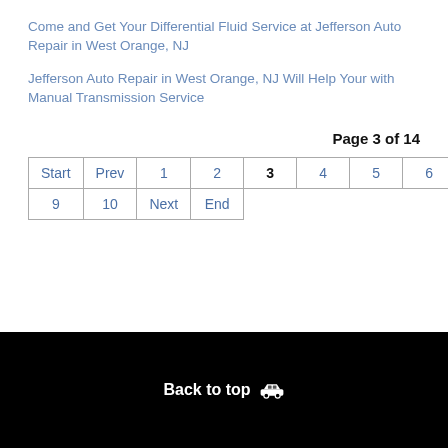Come and Get Your Differential Fluid Service at Jefferson Auto Repair in West Orange, NJ
Jefferson Auto Repair in West Orange, NJ Will Help Your with Manual Transmission Service
Page 3 of 14
| Start | Prev | 1 | 2 | 3 | 4 | 5 | 6 | 7 | 8 |
| 9 | 10 | Next | End |
Back to top 🚗